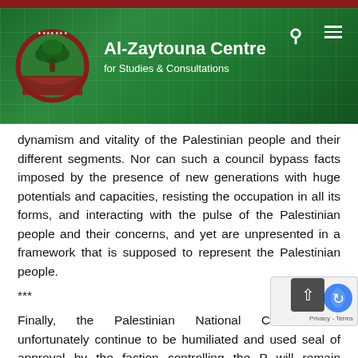[Figure (logo): Al-Zaytouna Centre for Studies & Consultations website header with green background, grid pattern, logo (olive tree in circular emblem), site title, search and menu icons.]
dynamism and vitality of the Palestinian people and their different segments. Nor can such a council bypass facts imposed by the presence of new generations with huge potentials and capacities, resisting the occupation in all its forms, and interacting with the pulse of the Palestinian people and their concerns, and yet are unpresented in a framework that is supposed to represent the Palestinian people.
***
Finally, the Palestinian National Council will unfortunately continue to be humiliated and used seal of approval by the faction controlling the P will remain hostage to the paths imposed or drawn by